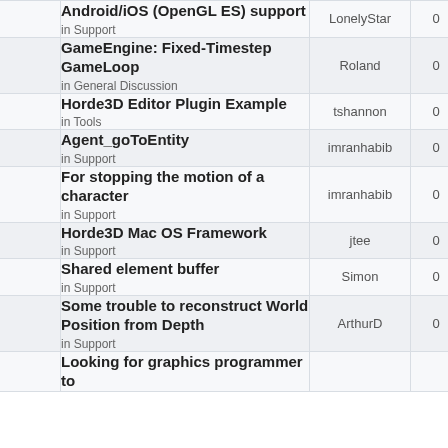|  | Topic | Author | Replies | Views |
| --- | --- | --- | --- | --- |
|  | Android/iOS (OpenGL ES) support
in Support | LonelyStar | 0 | 14… |
|  | GameEngine: Fixed-Timestep GameLoop
in General Discussion | Roland | 0 | 163… |
|  | Horde3D Editor Plugin Example
in Tools | tshannon | 0 | 167… |
|  | Agent_goToEntity
in Support | imranhabib | 0 | 127… |
|  | For stopping the motion of a character
in Support | imranhabib | 0 | 12… |
|  | Horde3D Mac OS Framework
in Support | jtee | 0 | 132… |
|  | Shared element buffer
in Support | Simon | 0 | 136… |
|  | Some trouble to reconstruct World Position from Depth
in Support | ArthurD | 0 | 149… |
|  | Looking for graphics programmer to… |  |  |  |